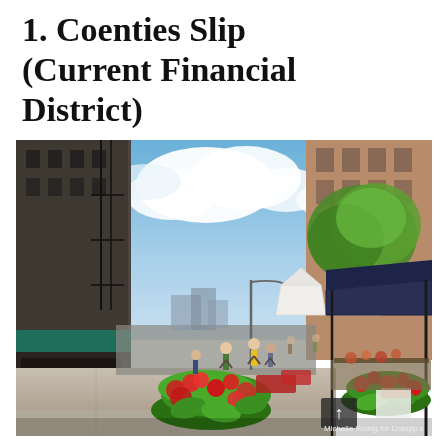1. Coenties Slip (Current Financial District)
[Figure (photo): Street-level photo of Coenties Slip in the Financial District, New York City, showing a sidewalk market with white tent stalls, colorful flower planters with red and green plants, people walking, tall brick buildings on both sides, trees, a blue sky with clouds, and a dark navy vendor canopy on the right. A chalkboard sign is visible outside a shop on the left.]
Michelle Young for Untapp... s